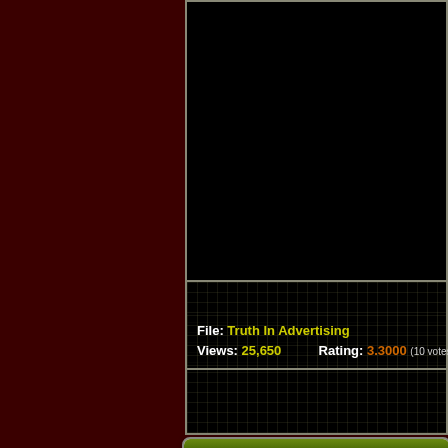[Figure (screenshot): Black media/video area with dark grid overlay background]
File: Truth In Advertising
Views: 25,650    Rating: 3.3000 (10 votes)
Sponsored Links
YOUR AD HERE